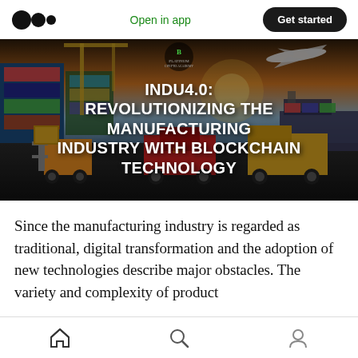Open in app | Get started
[Figure (illustration): Hero image showing a logistics/manufacturing scene with forklift, trucks, shipping containers, cargo ship, airplane, with bold white text overlay reading INDU4.0: REVOLUTIONIZING THE MANUFACTURING INDUSTRY WITH BLOCKCHAIN TECHNOLOGY]
Since the manufacturing industry is regarded as traditional, digital transformation and the adoption of new technologies describe major obstacles. The variety and complexity of product
Home | Search | Profile